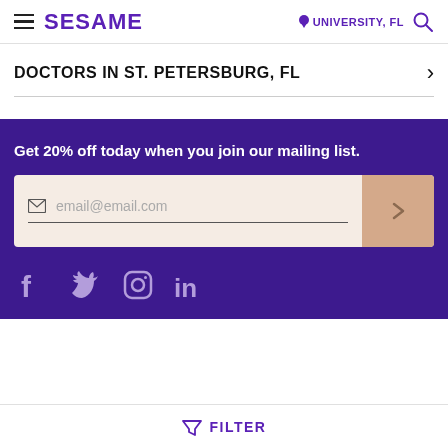SESAME | UNIVERSITY, FL
DOCTORS IN ST. PETERSBURG, FL
Get 20% off today when you join our mailing list.
email@email.com
[Figure (infographic): Social media icons: Facebook, Twitter, Instagram, LinkedIn]
FILTER